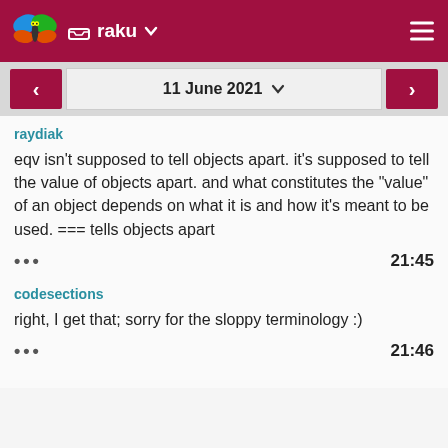raku
11 June 2021
raydiak
eqv isn't supposed to tell objects apart. it's supposed to tell the value of objects apart. and what constitutes the "value" of an object depends on what it is and how it's meant to be used. === tells objects apart
••• 21:45
codesections
right, I get that; sorry for the sloppy terminology :)
••• 21:46